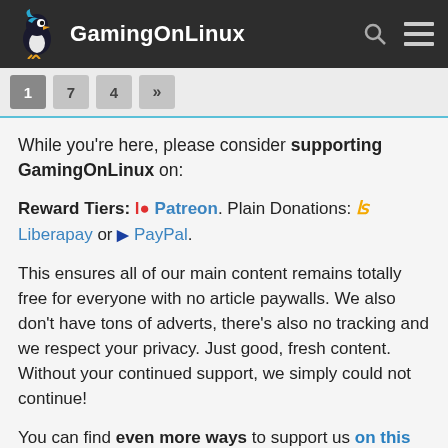GamingOnLinux
1 / 4 »
While you're here, please consider supporting GamingOnLinux on:

Reward Tiers: Patreon. Plain Donations: Liberapay or PayPal.

This ensures all of our main content remains totally free for everyone with no article paywalls. We also don't have tons of adverts, there's also no tracking and we respect your privacy. Just good, fresh content. Without your continued support, we simply could not continue!

You can find even more ways to support us on this dedicated page any time. If you already are, thank